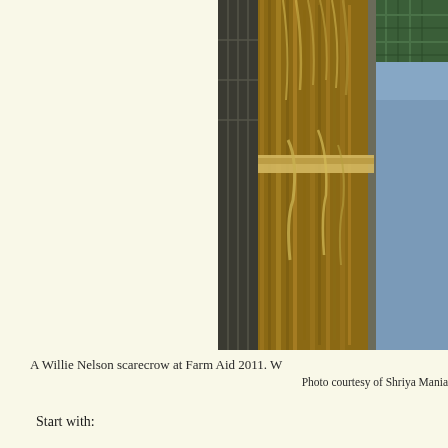[Figure (photo): A close-up photo of straw/hay bundled together, likely part of a Willie Nelson scarecrow display at Farm Aid 2011. A person in a blue shirt is partially visible on the right side, and green plaid fabric is visible at the top right.]
A Willie Nelson scarecrow at Farm Aid 2011. W
Photo courtesy of Shriya Mania
Start with:
-A garden stake or old broom handle, cut down to the preferred height
-Some old clothes: overalls, a flannel shirt, a straw hat, and gardening gloves are "t a tiara!
-Twine
-Burlap. Or a brown paper bag. Or a pumpkin. Or a Halloween mask. Whatever yo
-Stuffing. And not the edible kind! Try leaves you raked up from the yard, plastic s scarecrow with a wooden t-frame, disregard this step.